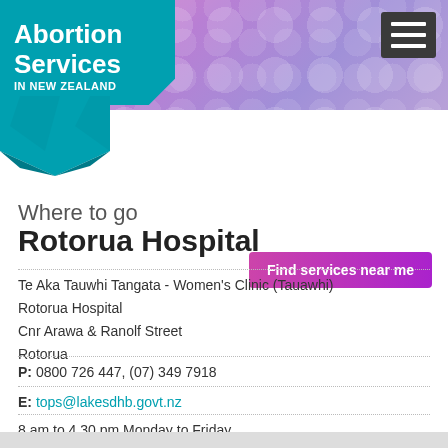Abortion Services IN NEW ZEALAND
[Figure (logo): Abortion Services in New Zealand teal logo with origami arrow decoration]
[Figure (other): Hamburger menu icon (dark grey box with three white bars)]
Find services near me
Where to go
Rotorua Hospital
Te Aka Tauwhi Tangata - Women's Clinic (Tauawhi)
Rotorua Hospital
Cnr Arawa & Ranolf Street
Rotorua
P: 0800 726 447, (07) 349 7918
E: tops@lakesdhb.govt.nz
8 am to 4.30 pm Monday to Friday